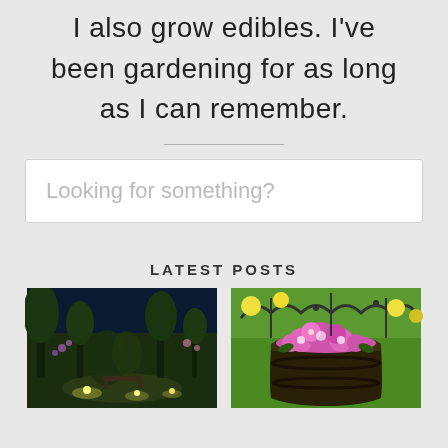I also grow edibles. I've been gardening for as long as I can remember.
Looking for something?
LATEST POSTS
[Figure (photo): A garden at night with illuminated path lights and lush green plants]
[Figure (photo): A half-barrel planter filled with pink and purple flowers with decorative metal fence in background]